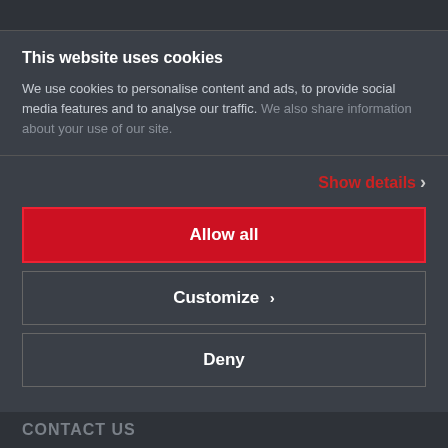This website uses cookies
We use cookies to personalise content and ads, to provide social media features and to analyse our traffic. We also share information about your use of our site.
Show details ›
Allow all
Customize ›
Deny
CONTACT US